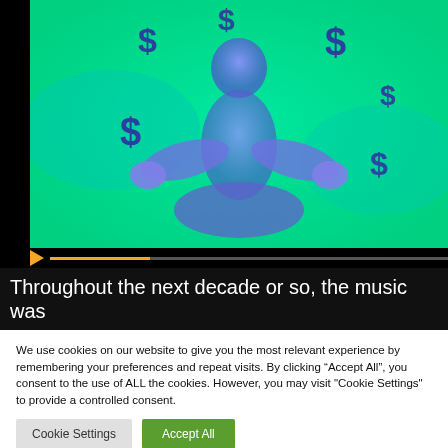[Figure (illustration): A glowing blue/purple silhouette of a person sitting in a meditation lotus pose against a bright green background. Multiple dollar signs ($) float around the figure in various sizes.]
Throughout the next decade or so, the music was
We use cookies on our website to give you the most relevant experience by remembering your preferences and repeat visits. By clicking “Accept All”, you consent to the use of ALL the cookies. However, you may visit "Cookie Settings" to provide a controlled consent.